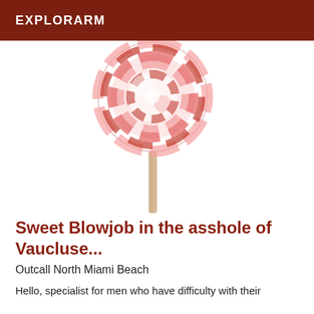EXPLORARM
[Figure (illustration): A pink and red swirled lollipop on a wooden stick, shown partially cropped at the top, with the stick extending downward toward the center-bottom of the image area.]
Sweet Blowjob in the asshole of Vaucluse...
Outcall North Miami Beach
Hello, specialist for men who have difficulty with their